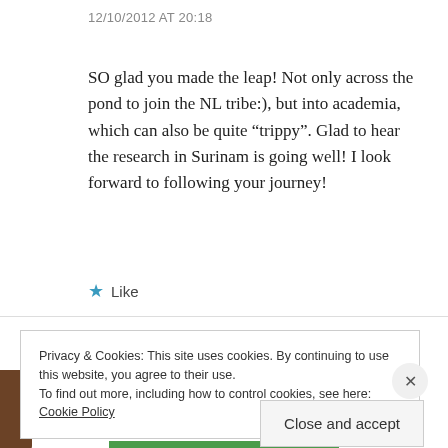12/10/2012 AT 20:18
SO glad you made the leap! Not only across the pond to join the NL tribe:), but into academia, which can also be quite “trippy”. Glad to hear the research in Surinam is going well! I look forward to following your journey!
★ Like
REPLY
Privacy & Cookies: This site uses cookies. By continuing to use this website, you agree to their use.
To find out more, including how to control cookies, see here: Cookie Policy
Close and accept